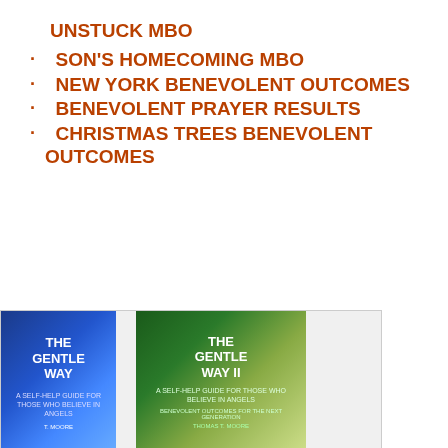UNSTUCK MBO
SON'S HOMECOMING MBO
NEW YORK BENEVOLENT OUTCOMES
BENEVOLENT PRAYER RESULTS
CHRISTMAS TREES BENEVOLENT OUTCOMES
[Figure (photo): Book cover of 'The Gentle Way' - blue glowing background with title text]
[Figure (photo): Book cover of 'The Gentle Way II' - green background with title and subtitle text, self-help guide for those who believe in angels]